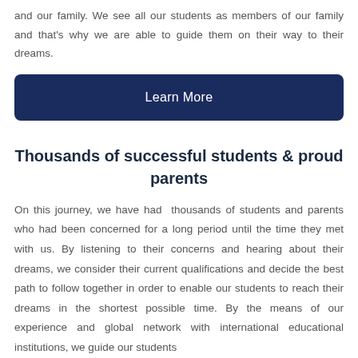and our family. We see all our students as members of our family and that's why we are able to guide them on their way to their dreams.
Learn More
Thousands of successful students & proud parents
On this journey, we have had thousands of students and parents who had been concerned for a long period until the time they met with us. By listening to their concerns and hearing about their dreams, we consider their current qualifications and decide the best path to follow together in order to enable our students to reach their dreams in the shortest possible time. By the means of our experience and global network with international educational institutions, we guide our students